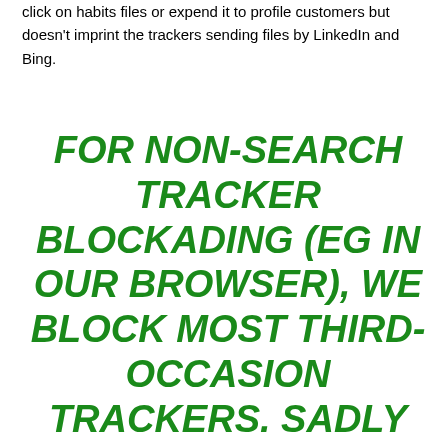click on habits files or expend it to profile customers but doesn't imprint the trackers sending files by LinkedIn and Bing.
FOR NON-SEARCH TRACKER BLOCKADING (EG IN OUR BROWSER), WE BLOCK MOST THIRD-OCCASION TRACKERS. SADLY OUR MICROSOFT SEARCH SYNDICATION AGREEMENT PREVENTS US FROM DOING EXTRA TO MICROSOFT-